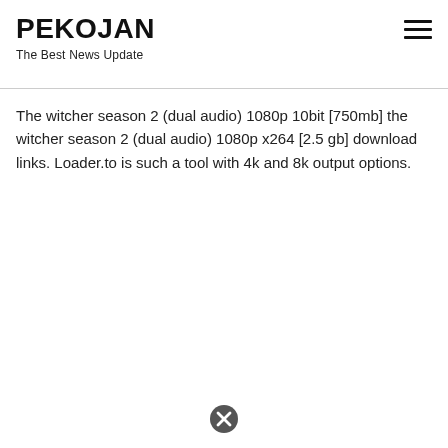PEKOJAN
The Best News Update
The witcher season 2 (dual audio) 1080p 10bit [750mb] the witcher season 2 (dual audio) 1080p x264 [2.5 gb] download links. Loader.to is such a tool with 4k and 8k output options.
[Figure (other): Close/cancel button icon (circle with X) at bottom center of page]